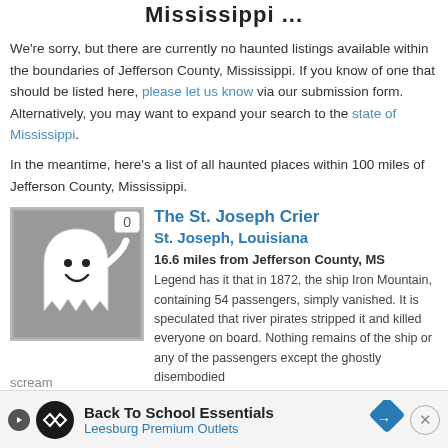Mississippi ...
We're sorry, but there are currently no haunted listings available within the boundaries of Jefferson County, Mississippi. If you know of one that should be listed here, please let us know via our submission form. Alternatively, you may want to expand your search to the state of Mississippi.
In the meantime, here's a list of all haunted places within 100 miles of Jefferson County, Mississippi.
[Figure (illustration): Ghost cartoon with smiling face on grey background, with a badge showing 0]
The St. Joseph Crier
St. Joseph, Louisiana
16.6 miles from Jefferson County, MS
Legend has it that in 1872, the ship Iron Mountain, containing 54 passengers, simply vanished. It is speculated that river pirates stripped it and killed everyone on board. Nothing remains of the ship or any of the passengers except the ghostly disembodied
Back To School Essentials Leesburg Premium Outlets